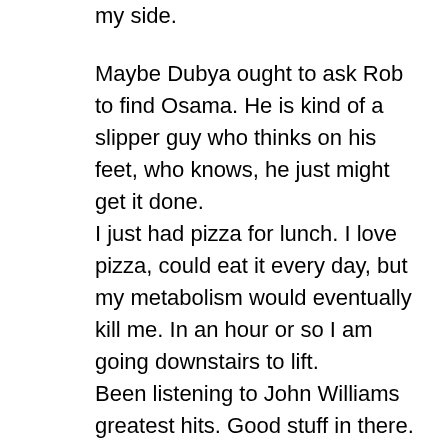my side.
Maybe Dubya ought to ask Rob to find Osama. He is kind of a slipper guy who thinks on his feet, who knows, he just might get it done.
I just had pizza for lunch. I love pizza, could eat it every day, but my metabolism would eventually kill me. In an hour or so I am going downstairs to lift.
Been listening to John Williams greatest hits. Good stuff in there. I am officially ready to grab my fedora, bull whip, light saber and